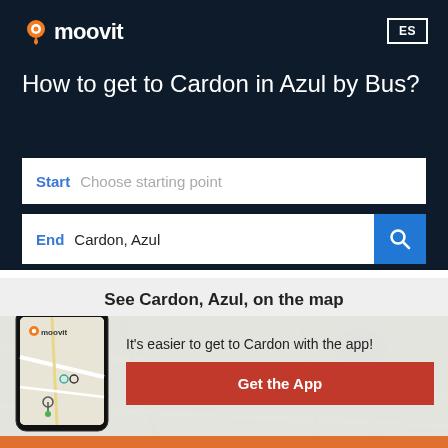[Figure (logo): Moovit logo with orange location pin icon and white text on dark background]
ES
How to get to Cardon in Azul by Bus?
Start   Choose starting point
End   Cardon, Azul
See Cardon, Azul, on the map
[Figure (map): Street map of Azul area showing roads and a water body]
[Figure (screenshot): Moovit app phone mockup showing map with route icons]
It's easier to get to Cardon with the app!
Get the App